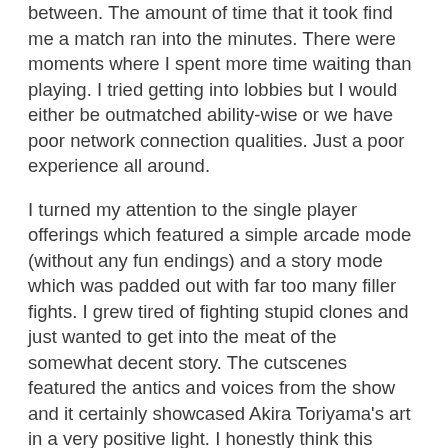between. The amount of time that it took find me a match ran into the minutes. There were moments where I spent more time waiting than playing. I tried getting into lobbies but I would either be outmatched ability-wise or we have poor network connection qualities. Just a poor experience all around.
I turned my attention to the single player offerings which featured a simple arcade mode (without any fun endings) and a story mode which was padded out with far too many filler fights. I grew tired of fighting stupid clones and just wanted to get into the meat of the somewhat decent story. The cutscenes featured the antics and voices from the show and it certainly showcased Akira Toriyama's art in a very positive light. I honestly think this game surpasses the show with its consistency with quality.
20 years ago I wished for a Dragon Ball Z fighting game in the same vein of Capcom's Marvel vs. games and, for better or for worse, I got exactly what I wished for. I can live my wildest DBZ fantasy match ups with Goku, Vegeta, Piccolo and all their iconic foes. Pulling off their trademark ki blasts, beams, combos, and other high flying moves would have blown my